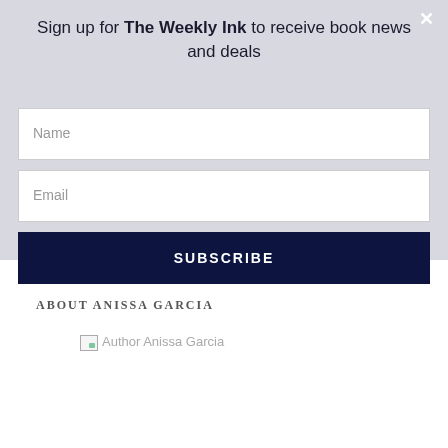Sign up for The Weekly Ink to receive book news and deals
Name
Email
SUBSCRIBE
ABOUT ANISSA GARCIA
[Figure (photo): Author Anissa Garcia photo (broken image placeholder)]